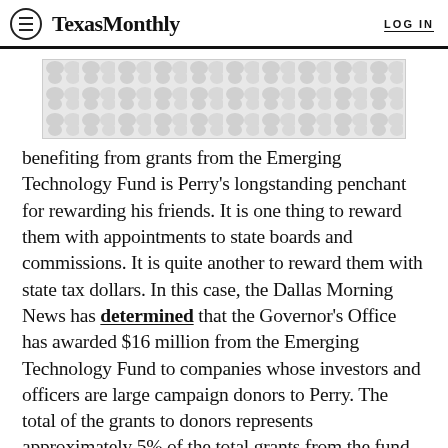TexasMonthly  LOG IN
[Figure (other): Advertisement banner with decorative dot/teardrop pattern in light grey tones]
benefiting from grants from the Emerging Technology Fund is Perry’s longstanding penchant for rewarding his friends. It is one thing to reward them with appointments to state boards and commissions. It is quite another to reward them with state tax dollars. In this case, the Dallas Morning News has determined that the Governor’s Office has awarded $16 million from the Emerging Technology Fund to companies whose investors and officers are large campaign donors to Perry. The total of the grants to donors represents approximately 5% of the total grants from the fund